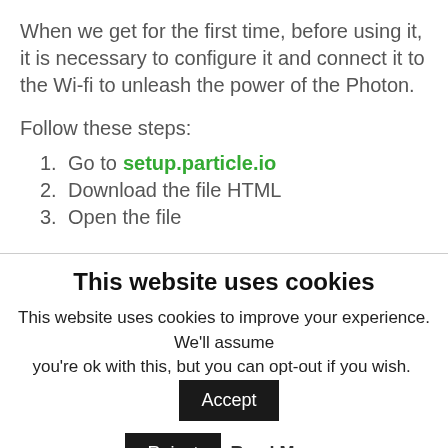When we get for the first time, before using it, it is necessary to configure it and connect it to the Wi-fi to unleash the power of the Photon.
Follow these steps:
1. Go to setup.particle.io
2. Download the file HTML
3. Open the file
This website uses cookies
This website uses cookies to improve your experience. We'll assume you're ok with this, but you can opt-out if you wish.
Accept
Reject
Read More